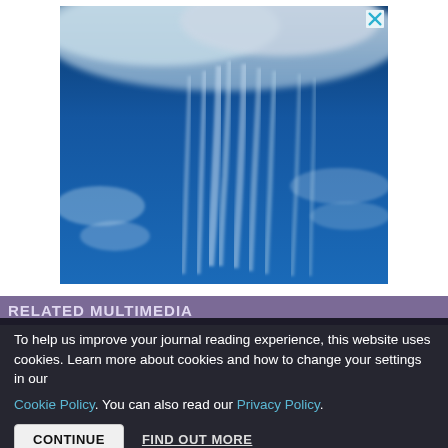[Figure (photo): Photograph of a blue sky with wispy cirrus clouds and virga (streaks of precipitation falling from clouds), taken from below looking upward. The image shows dramatic elongated cloud tendrils against a deep blue sky.]
RELATED MULTIMEDIA
To help us improve your journal reading experience, this website uses cookies. Learn more about cookies and how to change your settings in our Cookie Policy. You can also read our Privacy Policy.
CONTINUE   FIND OUT MORE